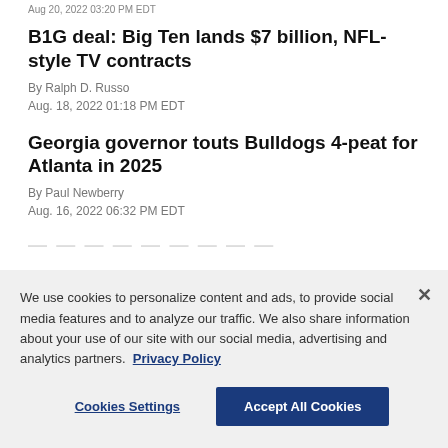Aug 20, 2022 03:20 PM EDT
B1G deal: Big Ten lands $7 billion, NFL-style TV contracts
By Ralph D. Russo
Aug. 18, 2022 01:18 PM EDT
Georgia governor touts Bulldogs 4-peat for Atlanta in 2025
By Paul Newberry
Aug. 16, 2022 06:32 PM EDT
We use cookies to personalize content and ads, to provide social media features and to analyze our traffic. We also share information about your use of our site with our social media, advertising and analytics partners. Privacy Policy
Cookies Settings | Accept All Cookies